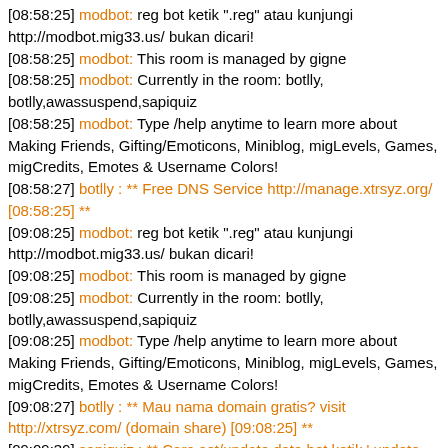[08:58:25] modbot: reg bot ketik ".reg" atau kunjungi http://modbot.mig33.us/ bukan dicari!
[08:58:25] modbot: This room is managed by gigne
[08:58:25] modbot: Currently in the room: botlly, botlly,awassuspend,sapiquiz
[08:58:25] modbot: Type /help anytime to learn more about Making Friends, Gifting/Emoticons, Miniblog, migLevels, Games, migCredits, Emotes & Username Colors!
[08:58:27] botlly : ** Free DNS Service http://manage.xtrsyz.org/ [08:58:25] **
[09:08:25] modbot: reg bot ketik ".reg" atau kunjungi http://modbot.mig33.us/ bukan dicari!
[09:08:25] modbot: This room is managed by gigne
[09:08:25] modbot: Currently in the room: botlly, botlly,awassuspend,sapiquiz
[09:08:25] modbot: Type /help anytime to learn more about Making Friends, Gifting/Emoticons, Miniblog, migLevels, Games, migCredits, Emotes & Username Colors!
[09:08:27] botlly : ** Mau nama domain gratis? visit http://xtrsyz.com/ (domain share) [09:08:25] **
[09:09:39] sapiquiz : ** Cara set/update data bot ketik '.update [namabot] [idbot] [passbot] [adminbot] [room_bot]'